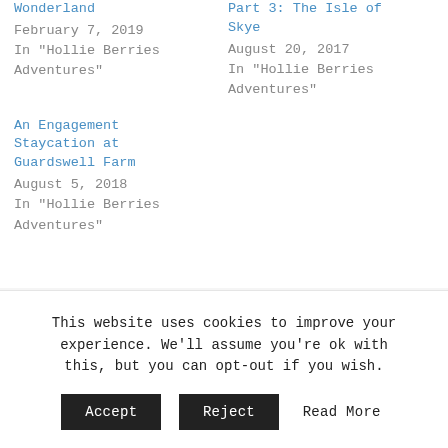Wonderland
February 7, 2019
In "Hollie Berries Adventures"
Part 3: The Isle of Skye
August 20, 2017
In "Hollie Berries Adventures"
An Engagement Staycation at Guardswell Farm
August 5, 2018
In "Hollie Berries Adventures"
ALSO ON HOLLIE BERRIES
This website uses cookies to improve your experience. We'll assume you're ok with this, but you can opt-out if you wish.
Accept  Reject  Read More